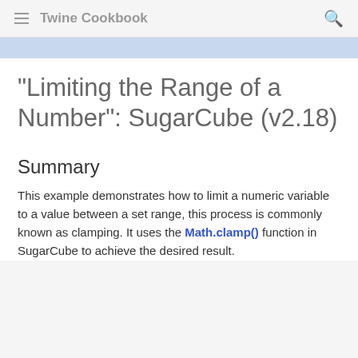Twine Cookbook
"Limiting the Range of a Number": SugarCube (v2.18)
Summary
This example demonstrates how to limit a numeric variable to a value between a set range, this process is commonly known as clamping. It uses the Math.clamp() function in SugarCube to achieve the desired result.